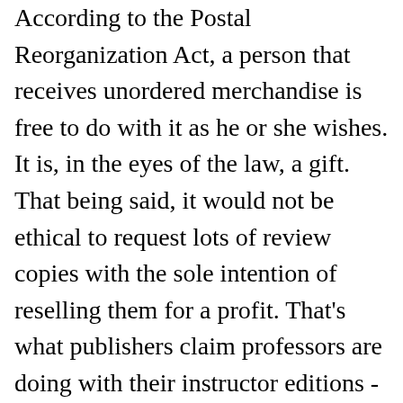According to the Postal Reorganization Act, a person that receives unordered merchandise is free to do with it as he or she wishes. It is, in the eyes of the law, a gift. That being said, it would not be ethical to request lots of review copies with the sole intention of reselling them for a profit. That's what publishers claim professors are doing with their instructor editions - requesting them just to sell and make a profit. However, it's hard to believe that well paid professors have the time or interest to run a side hustle selling textbooks and defrauding publishers. Most of them, with the exception of a few bad actors, are just reviewing new course material.
So Yes, you are free to sell your review copies online, and here is a price comparison tool that can help you get the most money for them. The consideration to th...